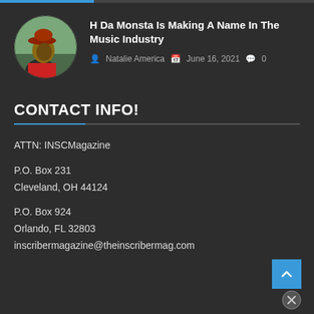[Figure (photo): Circular avatar photo of a person wearing a hat, looking upward, against an outdoor background]
H Da Monsta Is Making A Name In The Music Industry
Natalie America   June 16, 2021   0
CONTACT INFO!
ATTN: INSCMagazine
P.O. Box 231
Cleveland, OH 44124
P.O. Box 924
Orlando, FL 32803
inscribermagazine@theinscribermag.com